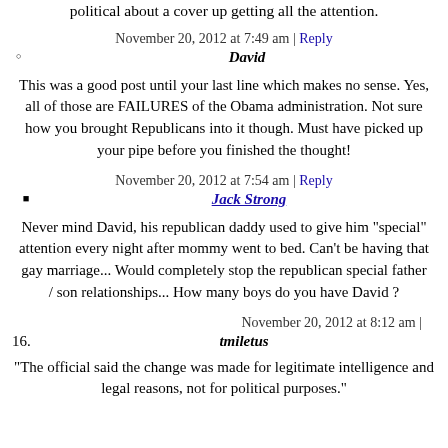political about a cover up getting all the attention.
November 20, 2012 at 7:49 am | Reply
David
This was a good post until your last line which makes no sense. Yes, all of those are FAILURES of the Obama administration. Not sure how you brought Republicans into it though. Must have picked up your pipe before you finished the thought!
November 20, 2012 at 7:54 am | Reply
Jack Strong
Never mind David, his republican daddy used to give him "special" attention every night after mommy went to bed. Can't be having that gay marriage... Would completely stop the republican special father / son relationships... How many boys do you have David ?
November 20, 2012 at 8:12 am |
16. tmiletus
"The official said the change was made for legitimate intelligence and legal reasons, not for political purposes."